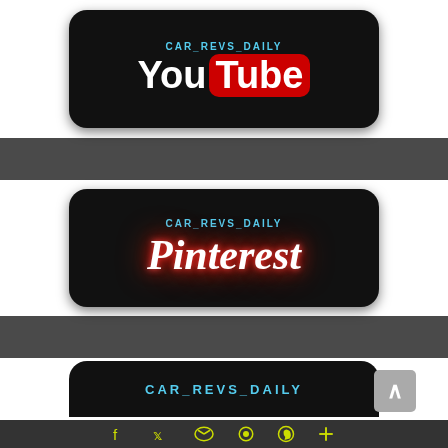[Figure (logo): CAR_REVS_DAILY YouTube banner badge on black rounded rectangle background]
[Figure (logo): CAR_REVS_DAILY Pinterest banner badge on black rounded rectangle background with red neon glow]
[Figure (logo): CAR_REVS_DAILY partial banner badge on black rounded rectangle, partially cropped at bottom]
Social media icon bar with Facebook, Twitter, Email, Pinterest, WhatsApp, Plus icons in yellow/green